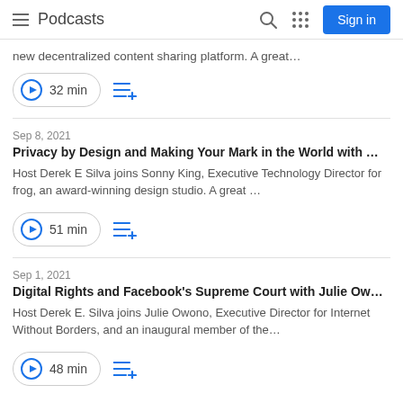Podcasts
new decentralized content sharing platform. A great…
32 min
Sep 8, 2021
Privacy by Design and Making Your Mark in the World with …
Host Derek E Silva joins Sonny King, Executive Technology Director for frog, an award-winning design studio. A great …
51 min
Sep 1, 2021
Digital Rights and Facebook's Supreme Court with Julie Ow…
Host Derek E. Silva joins Julie Owono, Executive Director for Internet Without Borders, and an inaugural member of the…
48 min